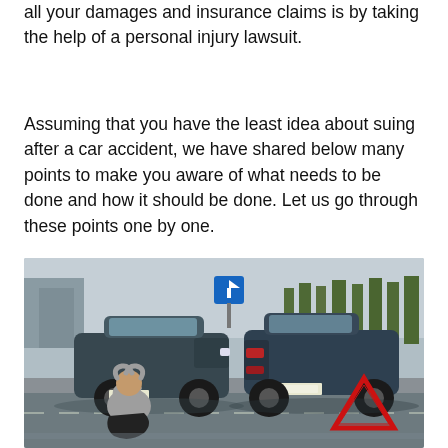all your damages and insurance claims is by taking the help of a personal injury lawsuit.
Assuming that you have the least idea about suing after a car accident, we have shared below many points to make you aware of what needs to be done and how it should be done. Let us go through these points one by one.
[Figure (photo): A person sitting on the road in distress with head in hands, in front of two cars that have been in a collision. A red warning triangle is visible on the road. Blue road sign visible in the background.]